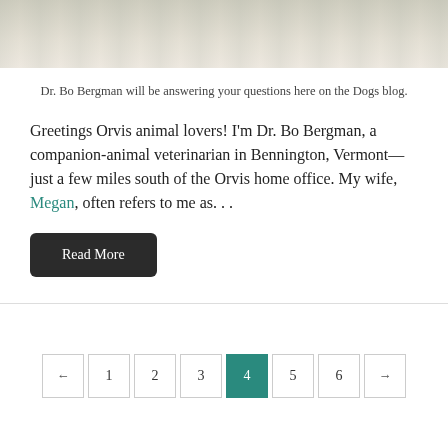[Figure (photo): Top portion of a photo showing a light-colored background, likely a person in white clothing, cropped at the top of the page]
Dr. Bo Bergman will be answering your questions here on the Dogs blog.
Greetings Orvis animal lovers! I'm Dr. Bo Bergman, a companion-animal veterinarian in Bennington, Vermont—just a few miles south of the Orvis home office. My wife, Megan, often refers to me as. . .
Read More
← 1 2 3 4 5 6 →